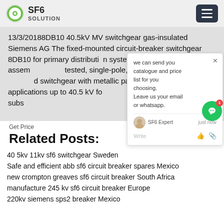SF6 SOLUTION
13/3/20188DB10 40.5kV MV switchgear gas-insulated Siemens AG The fixed-mounted circuit-breaker switchgear 8DB10 for primary distribution systems is an indoor, factory assembled, type tested, single-pole, metal-enclosed, gas-insulated switchgear with metallic partitions, for single busbar applications up to 40.5 kV for use in transformer and switching substations.
[Figure (screenshot): Chat popup overlay with text: 'we can send you catalogue and price list for you choosing. Leave us your email or whatsapp.' with SF6 Expert avatar and 'just now' timestamp, Write field with thumbs up and attachment icons. Green circular chat button with notification badge showing '1'.]
Get Price
Related Posts:
40 5kv 11kv sf6 switchgear Sweden
Safe and efficient abb sf6 circuit breaker spares Mexico
new crompton greaves sf6 circuit breaker South Africa
manufacture 245 kv sf6 circuit breaker Europe
220kv siemens sps2 breaker Mexico